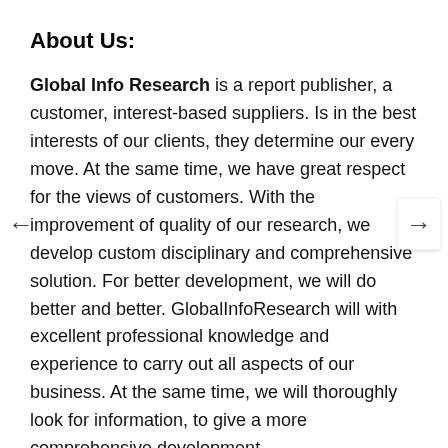About Us:
Global Info Research is a report publisher, a customer, interest-based suppliers. Is in the best interests of our clients, they determine our every move. At the same time, we have great respect for the views of customers. With the improvement of quality of our research, we develop custom disciplinary and comprehensive solution. For better development, we will do better and better. GlobalInfoResearch will with excellent professional knowledge and experience to carry out all aspects of our business. At the same time, we will thoroughly look for information, to give a more comprehensive development.